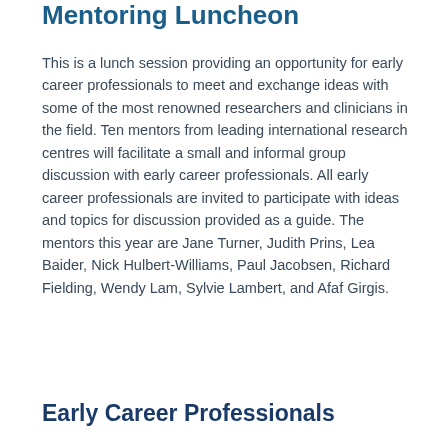Mentoring Luncheon
This is a lunch session providing an opportunity for early career professionals to meet and exchange ideas with some of the most renowned researchers and clinicians in the field. Ten mentors from leading international research centres will facilitate a small and informal group discussion with early career professionals. All early career professionals are invited to participate with ideas and topics for discussion provided as a guide. The mentors this year are Jane Turner, Judith Prins, Lea Baider, Nick Hulbert-Williams, Paul Jacobsen, Richard Fielding, Wendy Lam, Sylvie Lambert, and Afaf Girgis.
Early Career Professionals